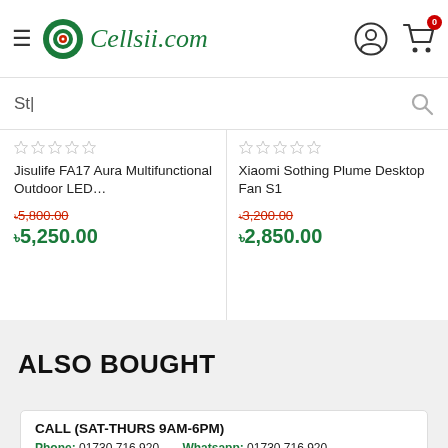Cellsii.com
St|
Jisulife FA17 Aura Multifunctional Outdoor LED...
৳5,800.00
৳5,250.00
Xiaomi Sothing Plume Desktop Fan S1
৳3,200.00
৳2,850.00
ALSO BOUGHT
CALL (SAT-THURS 9AM-6PM)
Phone: 01730 716 920   Whatsapp: 01730 716 920